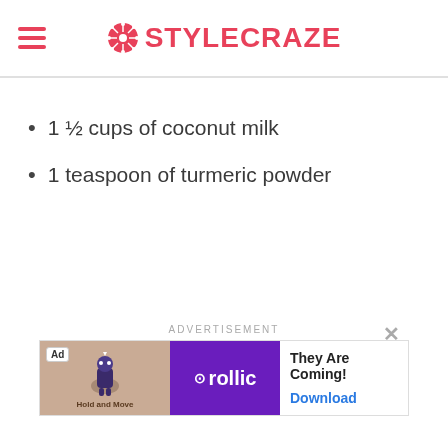STYLECRAZE
1 ½ cups of coconut milk
1 teaspoon of turmeric powder
[Figure (screenshot): Advertisement banner: Rollic game ad with 'They Are Coming!' text and Download button]